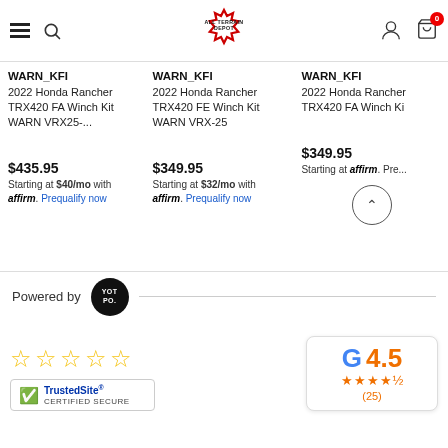ALLTERRAIN DEPOT
WARN_KFI
2022 Honda Rancher TRX420 FA Winch Kit WARN VRX25-...
$435.95
Starting at $40/mo with affirm. Prequalify now
WARN_KFI
2022 Honda Rancher TRX420 FE Winch Kit WARN VRX-25
$349.95
Starting at $32/mo with affirm. Prequalify now
WARN_KFI
2022 Honda Rancher TRX420 FA Winch Ki...
$349.95
Starting at ... affirm. Pre...
Powered by Yotpo
[Figure (other): Five empty star rating icons in yellow outline]
[Figure (other): TrustedSite Certified Secure badge with green checkmark]
[Figure (other): Google rating badge showing 4.5 stars with 25 reviews]